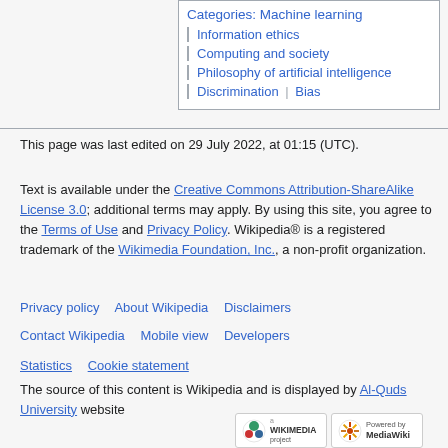Categories: Machine learning | Information ethics | Computing and society | Philosophy of artificial intelligence | Discrimination | Bias
This page was last edited on 29 July 2022, at 01:15 (UTC).
Text is available under the Creative Commons Attribution-ShareAlike License 3.0; additional terms may apply. By using this site, you agree to the Terms of Use and Privacy Policy. Wikipedia® is a registered trademark of the Wikimedia Foundation, Inc., a non-profit organization.
Privacy policy   About Wikipedia   Disclaimers   Contact Wikipedia   Mobile view   Developers   Statistics   Cookie statement
The source of this content is Wikipedia and is displayed by Al-Quds University website